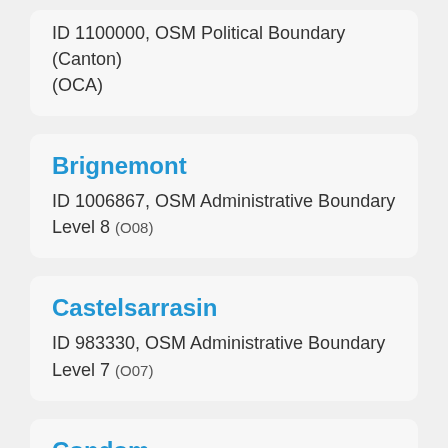ID 1100000, OSM Political Boundary (Canton) (OCA)
Brignemont
ID 1006867, OSM Administrative Boundary Level 8 (O08)
Castelsarrasin
ID 983330, OSM Administrative Boundary Level 7 (O07)
Condom
ID 983340, OSM Administrative Boundary Level 7 (O07)